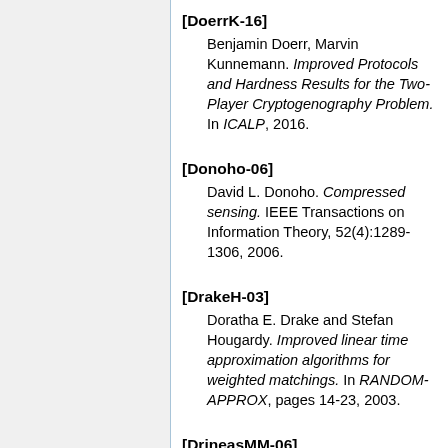[DoerrK-16] Benjamin Doerr, Marvin Kunnemann. Improved Protocols and Hardness Results for the Two-Player Cryptogenography Problem. In ICALP, 2016.
[Donoho-06] David L. Donoho. Compressed sensing. IEEE Transactions on Information Theory, 52(4):1289-1306, 2006.
[DrakeH-03] Doratha E. Drake and Stefan Hougardy. Improved linear time approximation algorithms for weighted matchings. In RANDOM-APPROX, pages 14-23, 2003.
[DrineasMM-06] Petros Drineas, Michael W....